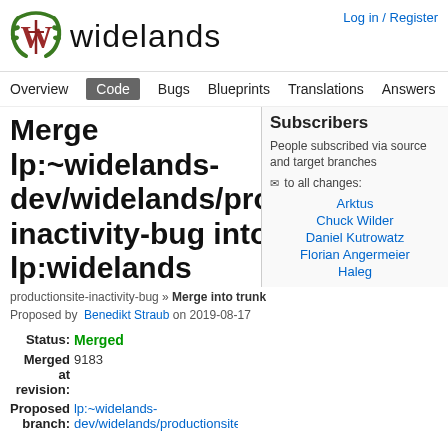[Figure (logo): Widelands game logo - green and red stylized W with sword]
widelands
Log in / Register
Overview | Code | Bugs | Blueprints | Translations | Answers
Merge lp:~widelands-dev/widelands/productionsite-inactivity-bug into lp:widelands
productionsite-inactivity-bug » Merge into trunk
Proposed by Benedikt Straub on 2019-08-17
| Status: | Merged |
| Merged at revision: | 9183 |
| Proposed branch: | lp:~widelands-dev/widelands/productionsite-inactivity-b |
Subscribers
People subscribed via source and target branches
to all changes: Arktus, Chuck Wilder, Daniel Kutrowatz, Florian Angermeier, Haleg